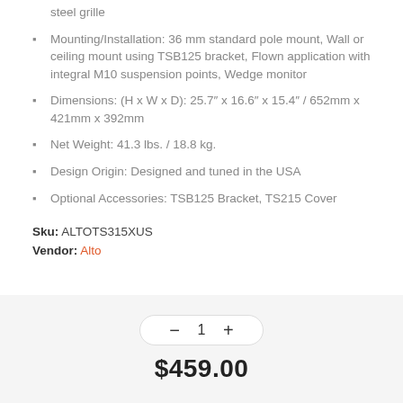steel grille
Mounting/Installation: 36 mm standard pole mount, Wall or ceiling mount using TSB125 bracket, Flown application with integral M10 suspension points, Wedge monitor
Dimensions: (H x W x D): 25.7″ x 16.6″ x 15.4″ / 652mm x 421mm x 392mm
Net Weight: 41.3 lbs. / 18.8 kg.
Design Origin: Designed and tuned in the USA
Optional Accessories: TSB125 Bracket, TS215 Cover
Sku: ALTOTS315XUS
Vendor: Alto
1
$459.00